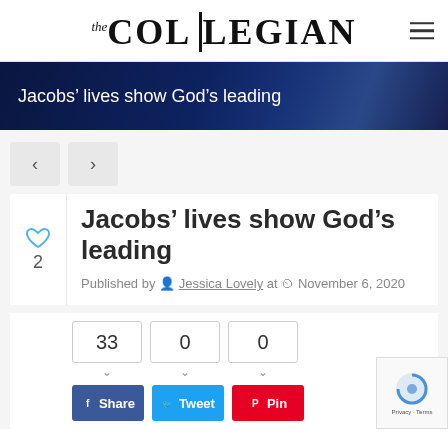the COLLEGIAN
Jacobs’ lives show God’s leading
Jacobs’ lives show God’s leading
Published by Jessica Lovely at November 6, 2020
33  0  0